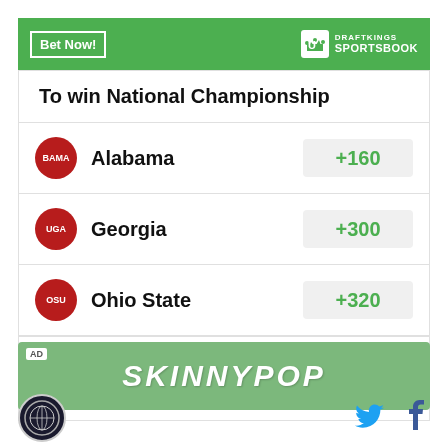[Figure (logo): DraftKings Sportsbook header banner with green background, Bet Now button, and DraftKings Sportsbook logo]
To win National Championship
| Team | Odds |
| --- | --- |
| Alabama | +160 |
| Georgia | +300 |
| Ohio State | +320 |
| Cl... | +1000 |
Odds/Lines subject to change. See draftkings.com for details.
[Figure (infographic): SkinnyPop advertisement banner with green background]
[Figure (logo): Site logo circular badge, dark blue with compass/globe design]
[Figure (infographic): Twitter bird icon in blue]
[Figure (infographic): Facebook f icon in dark blue]